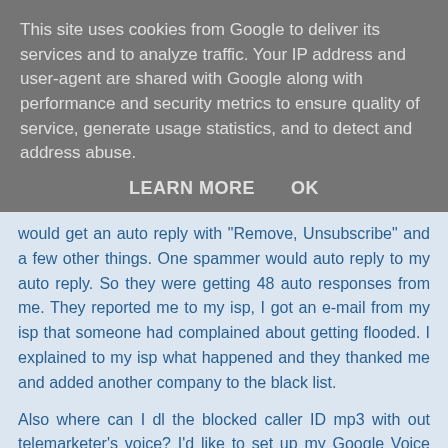This site uses cookies from Google to deliver its services and to analyze traffic. Your IP address and user-agent are shared with Google along with performance and security metrics to ensure quality of service, generate usage statistics, and to detect and address abuse.
LEARN MORE    OK
would get an auto reply with "Remove, Unsubscribe" and a few other things. One spammer would auto reply to my auto reply. So they were getting 48 auto responses from me. They reported me to my isp, I got an e-mail from my isp that someone had complained about getting flooded. I explained to my isp what happened and they thanked me and added another company to the black list.
Also where can I dl the blocked caller ID mp3 with out telemarketer's voice? I'd like to set up my Google Voice acct to auto send any blocked calls to the recording.
I used to use TrapCall (used to be free) If you get a blocked call just fwd to the trap call # (an 800 #) it would fwd back to you